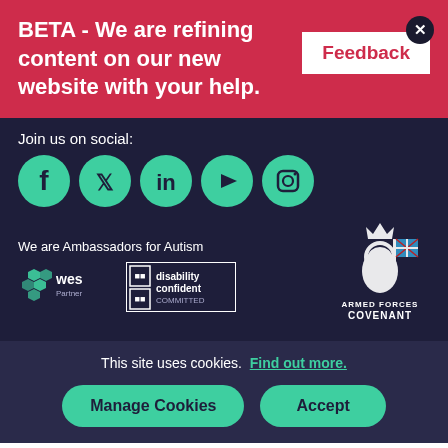BETA - We are refining content on our new website with your help.
Feedback
Join us on social:
[Figure (illustration): Social media icons: Facebook, Twitter, LinkedIn, YouTube, Instagram — teal circles on dark background]
We are Ambassadors for Autism
[Figure (logo): WES Partner logo, Disability Confident Committed logo, Armed Forces Covenant logo]
This site uses cookies.  Find out more.
Manage Cookies
Accept